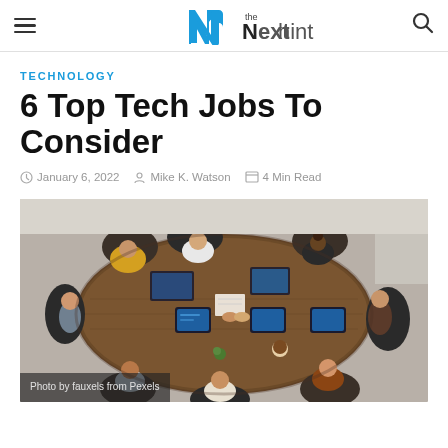The Next Hint — hamburger menu, logo, search icon
TECHNOLOGY
6 Top Tech Jobs To Consider
January 6, 2022  Mike K. Watson  4 Min Read
[Figure (photo): Overhead aerial view of a group of people sitting around a wooden meeting table with laptops and tablets, shaking hands in the center. Caption reads: Photo by fauxels from Pexels]